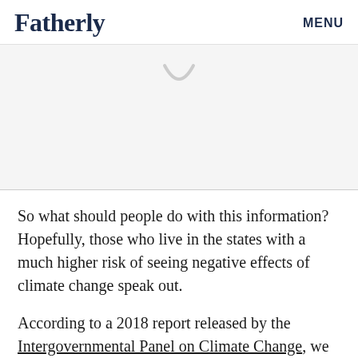Fatherly   MENU
[Figure (other): Loading spinner / advertisement placeholder area with a loading spinner icon visible at the top]
So what should people do with this information? Hopefully, those who live in the states with a much higher risk of seeing negative effects of climate change speak out.
According to a 2018 report released by the Intergovernmental Panel on Climate Change, we